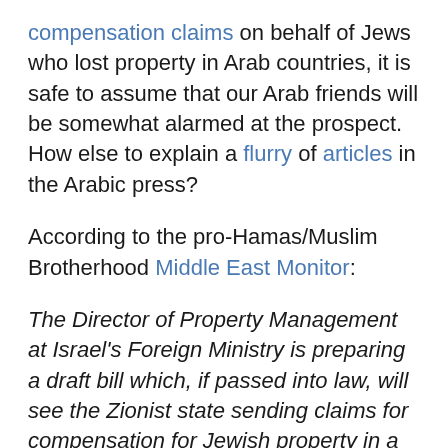compensation claims on behalf of Jews who lost property in Arab countries, it is safe to assume that our Arab friends will be somewhat alarmed at the prospect. How else to explain a flurry of articles in the Arabic press?
According to the pro-Hamas/Muslim Brotherhood Middle East Monitor:
The Director of Property Management at Israel's Foreign Ministry is preparing a draft bill which, if passed into law, will see the Zionist state sending claims for compensation for Jewish property in a number of Arab countries. It is